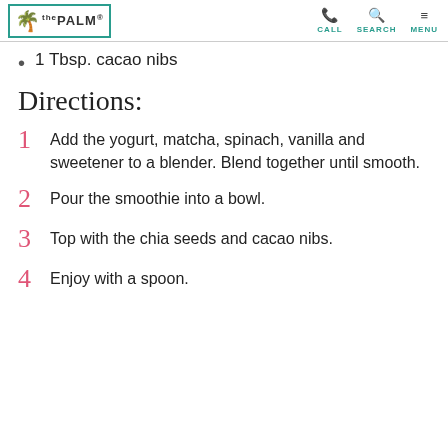the PALM — CALL SEARCH MENU
1 Tbsp. cacao nibs
Directions:
1 Add the yogurt, matcha, spinach, vanilla and sweetener to a blender. Blend together until smooth.
2 Pour the smoothie into a bowl.
3 Top with the chia seeds and cacao nibs.
4 Enjoy with a spoon.